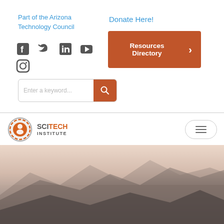Part of the Arizona Technology Council
Donate Here!
[Figure (other): Resources Directory button (orange rectangle with white bold text and right arrow chevron)]
[Figure (other): Social media icons: Facebook, Twitter, LinkedIn, YouTube, Instagram]
[Figure (other): Search bar with placeholder 'Enter a keyword...' and orange search button]
[Figure (logo): SciTech Institute logo: circular gear/globe icon with orange and grey color scheme, text SCITECH INSTITUTE]
[Figure (other): Hamburger menu button (three horizontal lines in rounded rectangle border)]
[Figure (photo): Gradient background photo of misty mountains/landscape transitioning from peach/beige at top to dark grey at bottom]